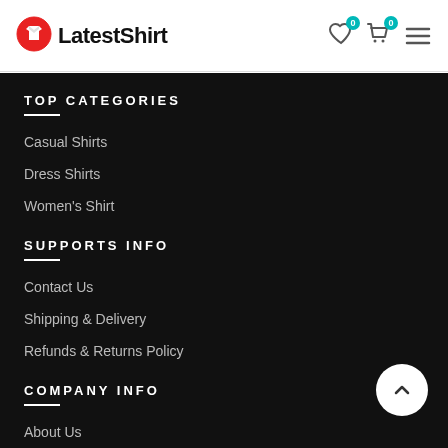LatestShirt
TOP CATEGORIES
Casual Shirts
Dress Shirts
Women's Shirt
SUPPORTS INFO
Contact Us
Shipping & Delivery
Refunds & Returns Policy
COMPANY INFO
About Us